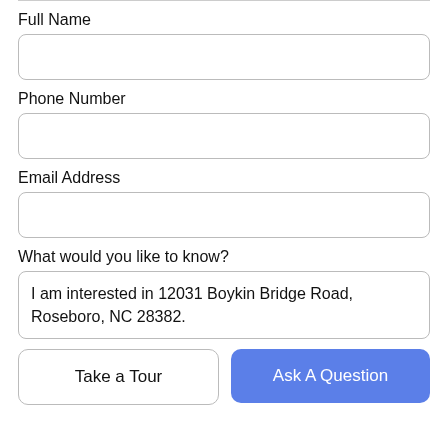Full Name
[Figure (other): Empty text input field for Full Name]
Phone Number
[Figure (other): Empty text input field for Phone Number]
Email Address
[Figure (other): Empty text input field for Email Address]
What would you like to know?
[Figure (other): Text area with pre-filled text: I am interested in 12031 Boykin Bridge Road, Roseboro, NC 28382.]
Take a Tour
Ask A Question